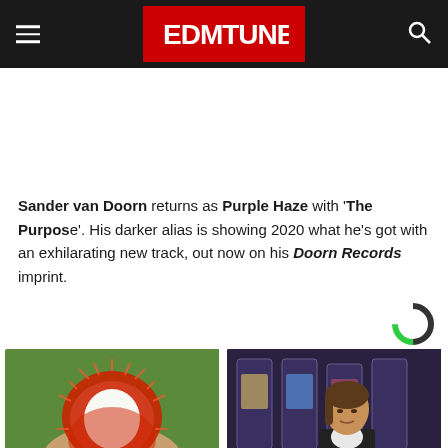EDMTunes
Sander van Doorn returns as Purple Haze with 'The Purpose'. His darker alias is showing 2020 what he's got with an exhilarating new track, out now on his Doorn Records imprint.
[Figure (logo): Taboola/ad network logo — circular logo with green and dark segments]
[Figure (photo): A hand holding a rambutan fruit with red spiky exterior and white interior, outdoors]
[Figure (photo): A woman sitting in front of slot machines in a casino]